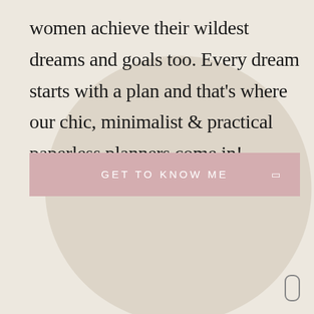women achieve their wildest dreams and goals too. Every dream starts with a plan and that's where our chic, minimalist & practical paperless planners come in!
[Figure (illustration): Large light beige/taupe circle decorative background element centered in the lower portion of the page]
GET TO KNOW ME →